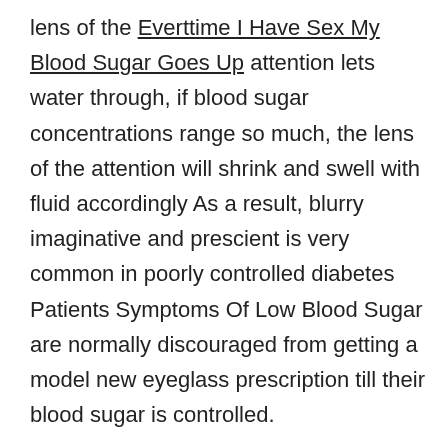lens of the Everttime I Have Sex My Blood Sugar Goes Up attention lets water through, if blood sugar concentrations range so much, the lens of the attention will shrink and swell with fluid accordingly As a result, blurry imaginative and prescient is very common in poorly controlled diabetes Patients Symptoms Of Low Blood Sugar are normally discouraged from getting a model new eyeglass prescription till their blood sugar is controlled.
The Everttime I Have Sex My Blood Sugar Goes Up fetus can have elevated weight and measurement or congenital anomalies Even after birth, such infants may have respiratory distress syndrome and subsequent childhood and adolescent obesity